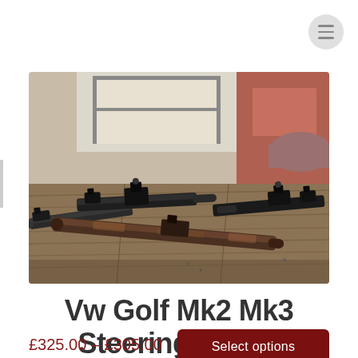[Figure (photo): Multiple VW Golf Mk2/Mk3 steering racks laid out on a wooden surface, showing metal steering rack components with various fittings and joints, photographed in an industrial or garage setting.]
Vw Golf Mk2 Mk3 Steering Racks
£325.00 – £305.00
Select options